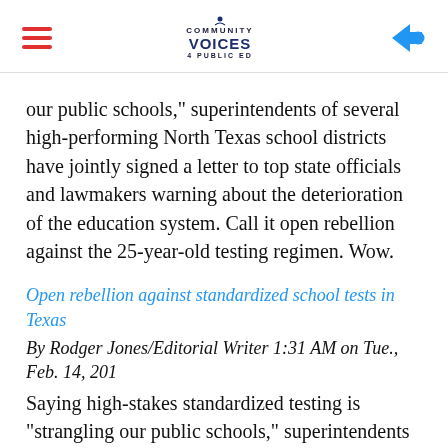Community Voices for Public Ed
our public schools," superintendents of several high-performing North Texas school districts have jointly signed a letter to top state officials and lawmakers warning about the deterioration of the education system. Call it open rebellion against the 25-year-old testing regimen. Wow.
Open rebellion against standardized school tests in Texas By Rodger Jones/Editorial Writer 1:31 AM on Tue., Feb. 14, 201 Saying high-stakes standardized testing is "strangling our public schools," superintendents of several high-